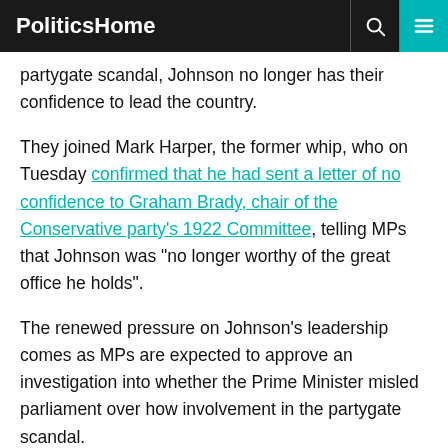PoliticsHome
partygate scandal, Johnson no longer has their confidence to lead the country.
They joined Mark Harper, the former whip, who on Tuesday confirmed that he had sent a letter of no confidence to Graham Brady, chair of the Conservative party's 1922 Committee, telling MPs that Johnson was "no longer worthy of the great office he holds".
The renewed pressure on Johnson's leadership comes as MPs are expected to approve an investigation into whether the Prime Minister misled parliament over how involvement in the partygate scandal.
On Wednesday evening the government put forward